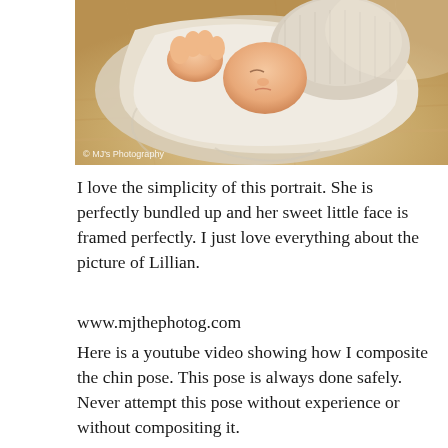[Figure (photo): Close-up newborn baby photo, infant bundled in white wrap with knit hat, lying on fluffy beige fur, watermark '© MJ's Photography' in lower left]
I love the simplicity of this portrait. She is perfectly bundled up and her sweet little face is framed perfectly. I just love everything about the picture of Lillian.
www.mjthephotog.com
Here is a youtube video showing how I composite the chin pose. This pose is always done safely. Never attempt this pose without experience or without compositing it.